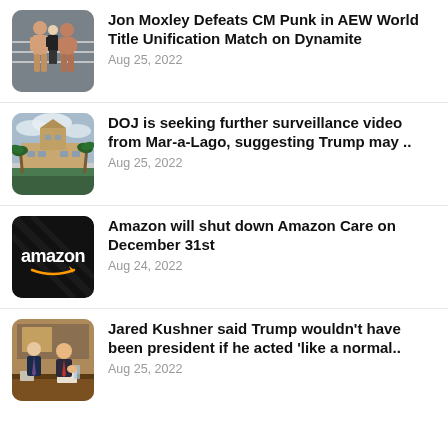[Figure (photo): Wrestling scene with two shirtless wrestlers and a referee in a ring]
Jon Moxley Defeats CM Punk in AEW World Title Unification Match on Dynamite
Aug 25, 2022
[Figure (photo): Mar-a-Lago estate exterior with palm trees and cloudy sky]
DOJ is seeking further surveillance video from Mar-a-Lago, suggesting Trump may ..
Aug 25, 2022
[Figure (logo): Amazon logo — white 'amazon' text with orange arrow on black background]
Amazon will shut down Amazon Care on December 31st
Aug 24, 2022
[Figure (photo): Jared Kushner and Donald Trump seated at a table in the White House]
Jared Kushner said Trump wouldn't have been president if he acted 'like a normal..
Aug 25, 2022